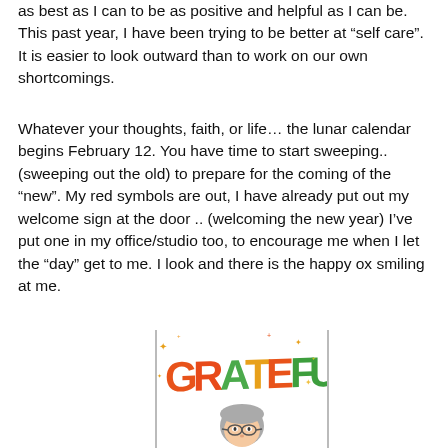as best as I can to be as positive and helpful as I can be. This past year, I have been trying to be better at “self care”. It is easier to look outward than to work on our own shortcomings.
Whatever your thoughts, faith, or life… the lunar calendar begins February 12. You have time to start sweeping.. (sweeping out the old) to prepare for the coming of the “new”. My red symbols are out, I have already put out my welcome sign at the door .. (welcoming the new year) I’ve put one in my office/studio too, to encourage me when I let the “day” get to me. I look and there is the happy ox smiling at me.
[Figure (illustration): Colorful illustration showing the word GRATEFUL in large multicolored letters (orange, teal, green, red, orange) with sparkle/diamond decorations around it, and below the text a cartoon illustration of a woman with gray hair and glasses looking upward.]